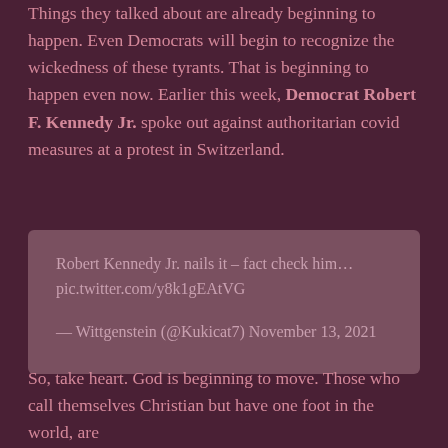Things they talked about are already beginning to happen. Even Democrats will begin to recognize the wickedness of these tyrants. That is beginning to happen even now. Earlier this week, Democrat Robert F. Kennedy Jr. spoke out against authoritarian covid measures at a protest in Switzerland.
Robert Kennedy Jr. nails it – fact check him… pic.twitter.com/y8k1gEAtVG

— Wittgenstein (@Kukicat7) November 13, 2021
So, take heart. God is beginning to move. Those who call themselves Christian but have one foot in the world, are